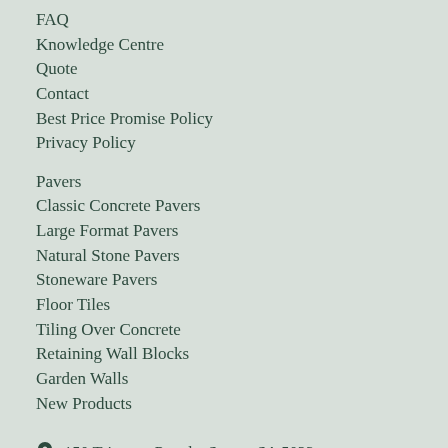FAQ
Knowledge Centre
Quote
Contact
Best Price Promise Policy
Privacy Policy
Pavers
Classic Concrete Pavers
Large Format Pavers
Natural Stone Pavers
Stoneware Pavers
Floor Tiles
Tiling Over Concrete
Retaining Wall Blocks
Garden Walls
New Products
150 Trimmer Parade, Seaton SA 5023
(08) 8234 7144
mskordas@australianpaving.com